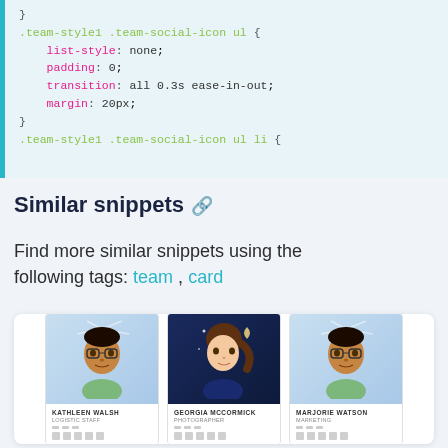[Figure (screenshot): CSS code snippet showing .team-style1 .team-social-icon ul rule with list-style: none, padding: 0, transition: all 0.3s ease-in-out, margin: 20px properties, and .team-style1 .team-social-icon ul li selector beginning]
Similar snippets 🔗
Find more similar snippets using the following tags: team , card
[Figure (screenshot): Preview of team card UI showing three avatar cards: Kathleen Walsh (Logistic Staff), Georgia McCormick (Photographer), Marjorie Watson (Marketing), each with avatar illustration and social media icons]